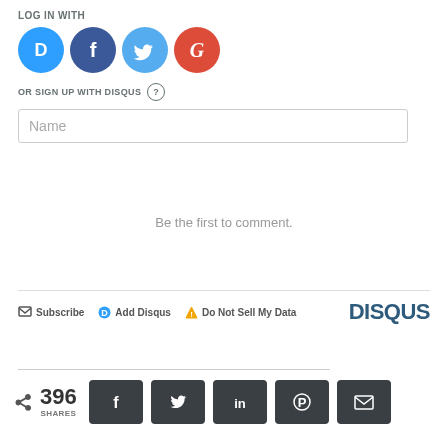LOG IN WITH
[Figure (infographic): Four social login icons: Disqus (blue circle with D), Facebook (dark blue circle with f), Twitter (light blue circle with bird), Google (red circle with G)]
OR SIGN UP WITH DISQUS ?
Name
Be the first to comment.
Subscribe  Add Disqus  Do Not Sell My Data  DISQUS
< 396 SHARES